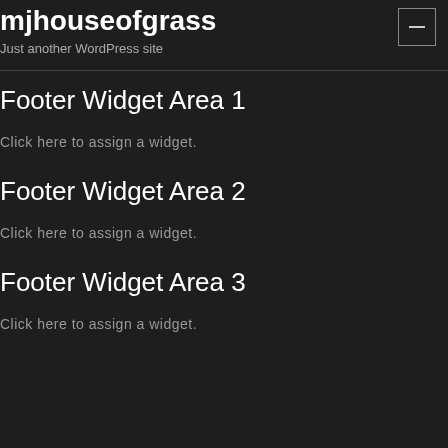mjhouseofgrass
Just another WordPress site
Footer Widget Area 1
Click here to assign a widget.
Footer Widget Area 2
Click here to assign a widget.
Footer Widget Area 3
Click here to assign a widget.